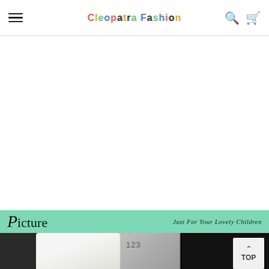CLEOPATRA FASHION — navigation header with hamburger menu, logo, search and cart icons
[Figure (photo): Product photo showing clothing items — white garment on hanger against dark background, partially visible]
Picture — Just For Your Lovely Children
[Figure (photo): Close-up product photo of clothing item on display, left portion showing white/cream fabric on dark hanger, right portion black background]